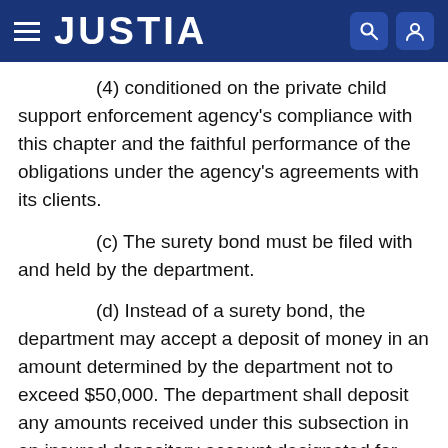JUSTIA
(4) conditioned on the private child support enforcement agency's compliance with this chapter and the faithful performance of the obligations under the agency's agreements with its clients.
(c) The surety bond must be filed with and held by the department.
(d) Instead of a surety bond, the department may accept a deposit of money in an amount determined by the department not to exceed $50,000. The department shall deposit any amounts received under this subsection in an insured depository account designated for that purpose.
Added by Acts 2001, 77th Leg., ch. 1023, Sec. 73, eff. Sept. 1, 2001.